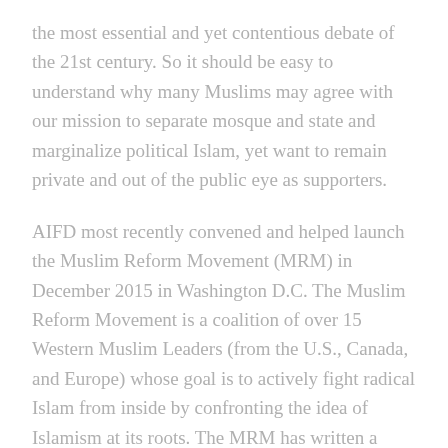the most essential and yet contentious debate of the 21st century. So it should be easy to understand why many Muslims may agree with our mission to separate mosque and state and marginalize political Islam, yet want to remain private and out of the public eye as supporters.
AIFD most recently convened and helped launch the Muslim Reform Movement (MRM) in December 2015 in Washington D.C. The Muslim Reform Movement is a coalition of over 15 Western Muslim Leaders (from the U.S., Canada, and Europe) whose goal is to actively fight radical Islam from inside by confronting the idea of Islamism at its roots. The MRM has written a Declaration for Muslim Reform calling...